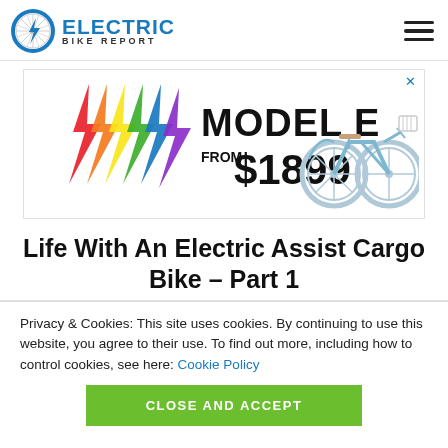Electric Bike Report
[Figure (illustration): Advertisement banner for Model E electric bike from $1899, with rainbow lightning bolt logo and image of a light blue cruiser bicycle with basket]
Life With An Electric Assist Cargo Bike – Part 1
Privacy & Cookies: This site uses cookies. By continuing to use this website, you agree to their use. To find out more, including how to control cookies, see here: Cookie Policy
CLOSE AND ACCEPT